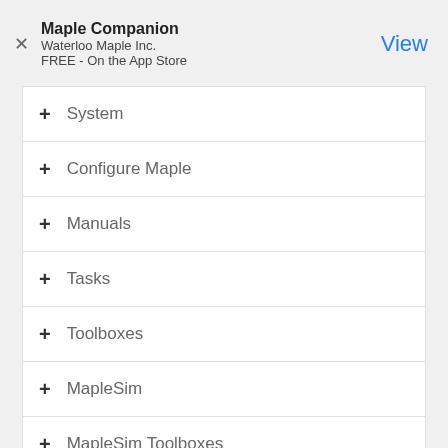Maple Companion
Waterloo Maple Inc.
FREE - On the App Store
View
+ System
+ Configure Maple
+ Manuals
+ Tasks
+ Toolboxes
+ MapleSim
+ MapleSim Toolboxes
Home : Support : Online Help : Mathematics : DifferentialGeometry : ChangeFrame